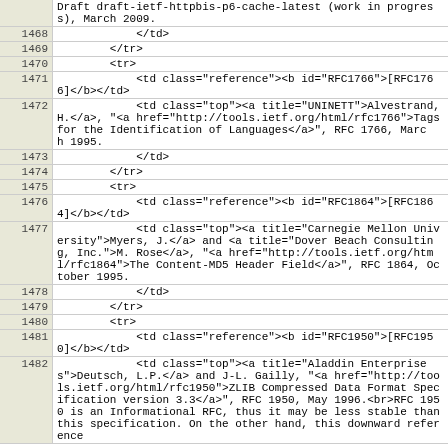|  | Draft draft-ietf-httpbis-p6-cache-latest (work in progress), March 2009. |
| 1468 |             </td> |
| 1469 |         </tr> |
| 1470 |         <tr> |
| 1471 |             <td class="reference"><b id="RFC1766">[RFC1766]</b></td> |
| 1472 |             <td class="top"><a title="UNINETT">Alvestrand, H.</a>, "<a href="http://tools.ietf.org/html/rfc1766">Tags for the Identification of Languages</a>", RFC 1766, March 1995. |
| 1473 |             </td> |
| 1474 |         </tr> |
| 1475 |         <tr> |
| 1476 |             <td class="reference"><b id="RFC1864">[RFC1864]</b></td> |
| 1477 |             <td class="top"><a title="Carnegie Mellon University">Myers, J.</a> and <a title="Dover Beach Consulting, Inc.">M. Rose</a>, "<a href="http://tools.ietf.org/html/rfc1864">The Content-MD5 Header Field</a>", RFC 1864, October 1995. |
| 1478 |             </td> |
| 1479 |         </tr> |
| 1480 |         <tr> |
| 1481 |             <td class="reference"><b id="RFC1950">[RFC1950]</b></td> |
| 1482 |             <td class="top"><a title="Aladdin Enterprises">Deutsch, L.P.</a> and J-L. Gailly, "<a href="http://tools.ietf.org/html/rfc1950">ZLIB Compressed Data Format Specification version 3.3</a>", RFC 1950, May 1996.<br>RFC 1950 is an Informational RFC, thus it may be less stable than this specification. On the other hand, this downward reference |